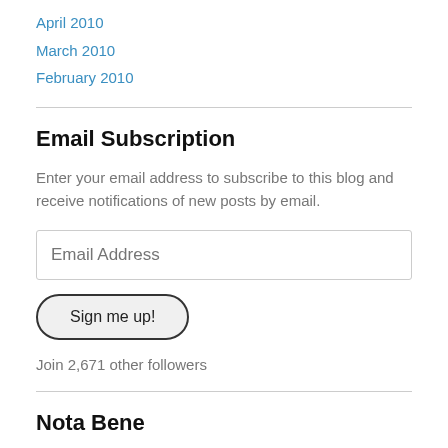April 2010
March 2010
February 2010
Email Subscription
Enter your email address to subscribe to this blog and receive notifications of new posts by email.
Join 2,671 other followers
Nota Bene
All photographs are copyright © 2017 Jon Crispin. Thanks for looking and be all means register for all updates.